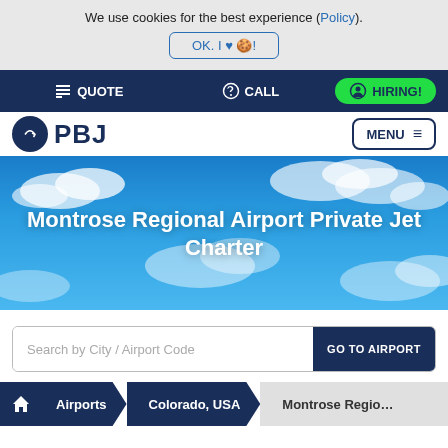We use cookies for the best experience (Policy).
OK. I ♥ 🍪!
QUOTE  CALL  HIRING!
PBJ — MENU
[Figure (screenshot): Blue sky with clouds hero banner background]
Montrose Regional Airport Private Jet Charter
Search by City / Airport Code — GO TO AIRPORT
Airports  Colorado, USA  Montrose Regio…